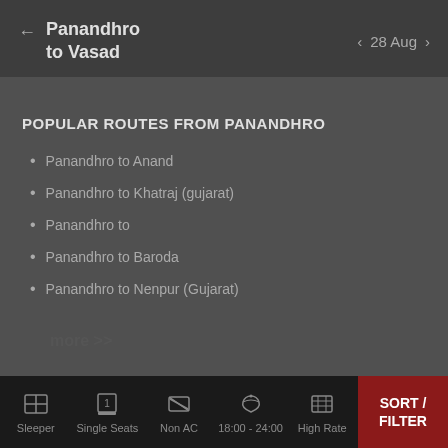Panandhro to Vasad   28 Aug
POPULAR ROUTES FROM PANANDHRO
Panandhro to Anand
Panandhro to Khatraj (gujarat)
Panandhro to
Panandhro to Baroda
Panandhro to Nenpur (Gujarat)
more >>
Sleeper   Single Seats   Non AC   18:00 - 24:00   High Rate   SORT / FILTER